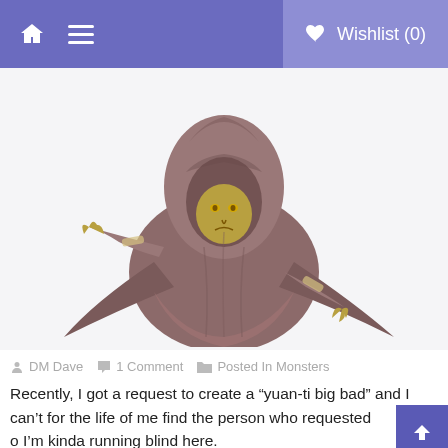Wishlist (0)
[Figure (illustration): Fantasy illustration of a hooded humanoid figure in a dark flowing robe, with yellowish-green skin and glowing eyes, arms outstretched in an aggressive stance, set against a white background. Likely a yuan-ti or snake-person villain character from Dungeons & Dragons.]
DM Dave  1 Comment  Posted In Monsters
Recently, I got a request to create a "yuan-ti big bad" and I can't for the life of me find the person who requested it. So I'm kinda running blind here.